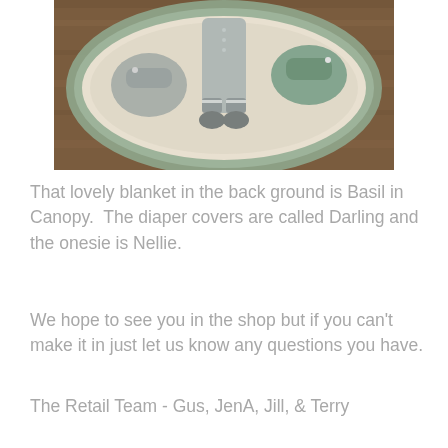[Figure (photo): Knitted baby items including pants/onesie and diaper covers in grey, laid on a round crocheted blanket in cream and sage green, on a wooden surface.]
That lovely blanket in the back ground is Basil in Canopy.  The diaper covers are called Darling and the onesie is Nellie.
We hope to see you in the shop but if you can't make it in just let us know any questions you have.
The Retail Team - Gus, JenA, Jill, & Terry